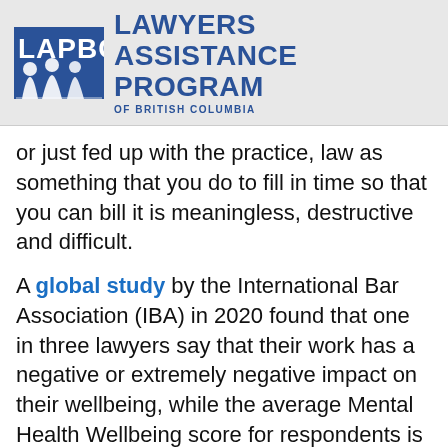[Figure (logo): LAPBC Lawyers Assistance Program of British Columbia logo — blue square with white silhouette figures and LAPBC text, beside blue text reading LAWYERS ASSISTANCE PROGRAM OF BRITISH COLUMBIA]
or just fed up with the practice, law as something that you do to fill in time so that you can bill it is meaningless, destructive and difficult.
A global study by the International Bar Association (IBA) in 2020 found that one in three lawyers say that their work has a negative or extremely negative impact on their wellbeing, while the average Mental Health Wellbeing score for respondents is low enough to warrant a health professional to screen for depression, suggesting that a more formal